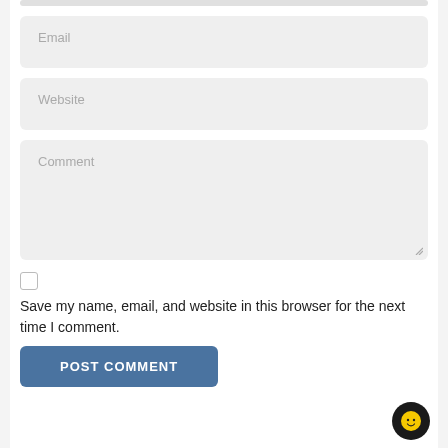[Figure (screenshot): Partial top input field (truncated at top of page)]
Email
Website
Comment
Save my name, email, and website in this browser for the next time I comment.
POST COMMENT
[Figure (illustration): Chat bubble icon in bottom right corner with yellow smiley face]